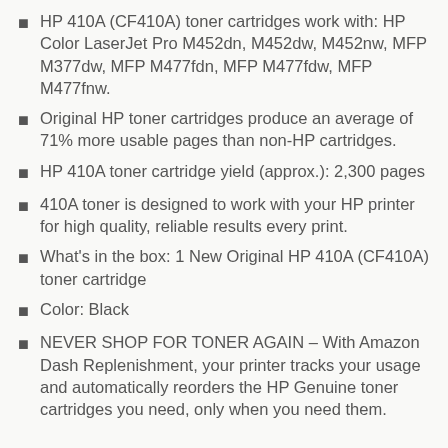HP 410A (CF410A) toner cartridges work with: HP Color LaserJet Pro M452dn, M452dw, M452nw, MFP M377dw, MFP M477fdn, MFP M477fdw, MFP M477fnw.
Original HP toner cartridges produce an average of 71% more usable pages than non-HP cartridges.
HP 410A toner cartridge yield (approx.): 2,300 pages
410A toner is designed to work with your HP printer for high quality, reliable results every print.
What's in the box: 1 New Original HP 410A (CF410A) toner cartridge
Color: Black
NEVER SHOP FOR TONER AGAIN – With Amazon Dash Replenishment, your printer tracks your usage and automatically reorders the HP Genuine toner cartridges you need, only when you need them.